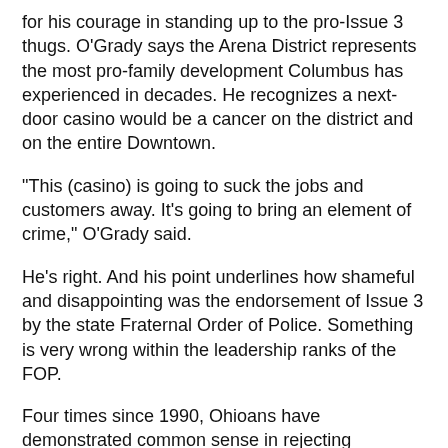for his courage in standing up to the pro-Issue 3 thugs. O'Grady says the Arena District represents the most pro-family development Columbus has experienced in decades. He recognizes a next-door casino would be a cancer on the district and on the entire Downtown.
"This (casino) is going to suck the jobs and customers away. It's going to bring an element of crime," O'Grady said.
He's right. And his point underlines how shameful and disappointing was the endorsement of Issue 3 by the state Fraternal Order of Police. Something is very wrong within the leadership ranks of the FOP.
Four times since 1990, Ohioans have demonstrated common sense in rejecting proposed constitutional amendments sponsored by big-time gambling interests.
For all of its current economic troubles, Ohio should not be tempted to cashier its core Midwestern values for the false promise of casino gold. There is no evidence on the planet that casinos rejuvenate depressed local economies.